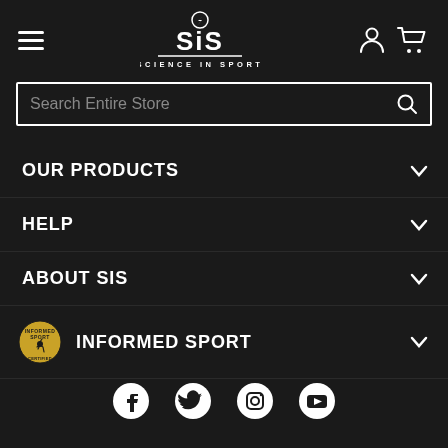[Figure (logo): Science in Sport (SiS) logo - white text on dark background with lightning bolt icon]
Search Entire Store
OUR PRODUCTS
HELP
ABOUT SIS
INFORMED SPORT
[Figure (infographic): Social media icons row: Facebook, Twitter, Instagram, YouTube]